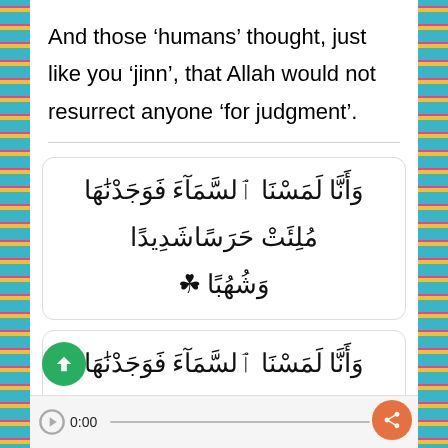And those ‘humans’ thought, just like you ‘jinn’, that Allah would not resurrect anyone ‘for judgment’.
[Figure (other): Arabic Quran verse in a rounded box: وَأَنَّا لَمَسْنَا ٱلسَّمَآءَ فَوَجَدْنَٰهَا مُلِئَتْ حَرَسًا شَدِيدًا وَشُهُبًا ۝٨]
[Figure (other): Arabic Quran verse partial in a rounded box: وَأَنَّا لَمَسْنَا ٱلسَّمَآءَ فَوَجَدْنَٰهَا مُلِئَتْ]
0:00   0:00